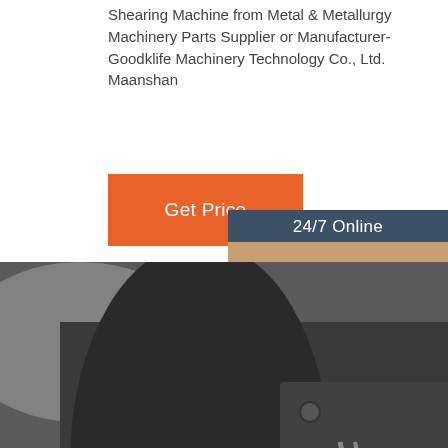Shearing Machine from Metal & Metallurgy Machinery Parts Supplier or Manufacturer-Goodklife Machinery Technology Co., Ltd. Maanshan
[Figure (other): Orange 'Get Price' button]
[Figure (photo): Customer service representative with headset, 24/7 Online chat widget with dark blue background, 'Click here for free chat!' text and orange QUOTATION button]
[Figure (photo): Close-up photo of industrial shearing machine metal parts, hydraulic components and bolted steel panels]